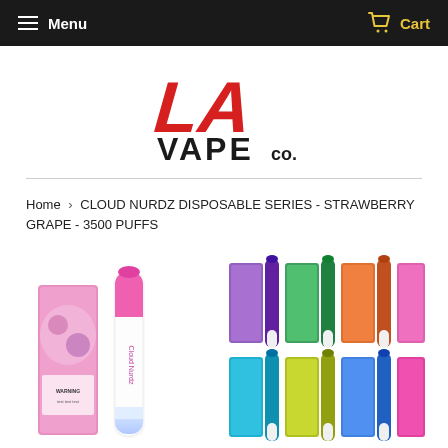Menu  Cart
[Figure (logo): LA Vape Co. logo with red stylized 'LA' lettering above 'VAPE co.' in black bold text]
Home › CLOUD NURDZ DISPOSABLE SERIES - STRAWBERRY GRAPE - 3500 PUFFS
[Figure (photo): Cloud Nurdz disposable vape device in pink/white with product box - Strawberry Grape flavor]
[Figure (photo): Multiple Cloud Nurdz disposable vape devices in various colors with their product boxes displayed in two rows]